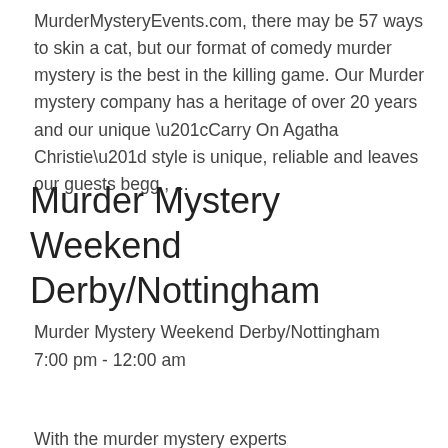MurderMysteryEvents.com, there may be 57 ways to skin a cat, but our format of comedy murder mystery is the best in the killing game. Our Murder mystery company has a heritage of over 20 years and our unique “Carry On Agatha Christie” style is unique, reliable and leaves our guests begg , ...
Murder Mystery Weekend Derby/Nottingham
Murder Mystery Weekend Derby/Nottingham
7:00 pm - 12:00 am
With the murder mystery experts